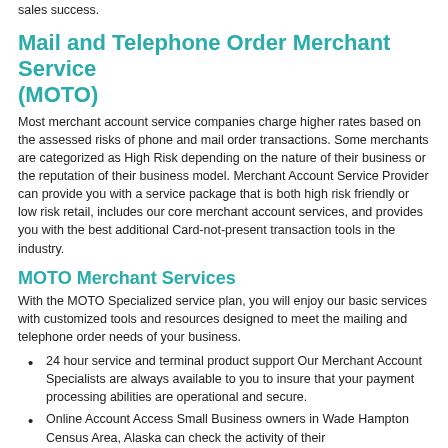sales success.
Mail and Telephone Order Merchant Service (MOTO)
Most merchant account service companies charge higher rates based on the assessed risks of phone and mail order transactions. Some merchants are categorized as High Risk depending on the nature of their business or the reputation of their business model. Merchant Account Service Provider can provide you with a service package that is both high risk friendly or low risk retail, includes our core merchant account services, and provides you with the best additional Card-not-present transaction tools in the industry.
MOTO Merchant Services
With the MOTO Specialized service plan, you will enjoy our basic services with customized tools and resources designed to meet the mailing and telephone order needs of your business.
24 hour service and terminal product support Our Merchant Account Specialists are always available to you to insure that your payment processing abilities are operational and secure.
Online Account Access Small Business owners in Wade Hampton Census Area, Alaska can check the activity of their